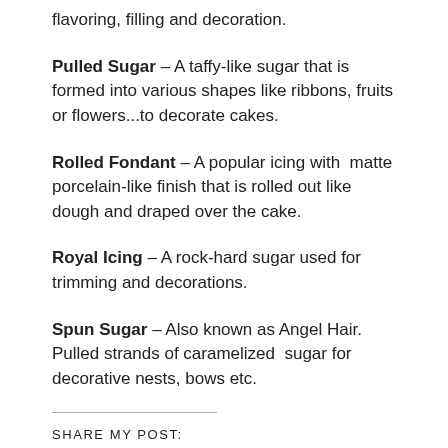flavoring, filling and decoration.
Pulled Sugar – A taffy-like sugar that is formed into various shapes like ribbons, fruits or flowers...to decorate cakes.
Rolled Fondant – A popular icing with  matte porcelain-like finish that is rolled out like dough and draped over the cake.
Royal Icing – A rock-hard sugar used for trimming and decorations.
Spun Sugar – Also known as Angel Hair. Pulled strands of caramelized  sugar for decorative nests, bows etc.
SHARE MY POST: